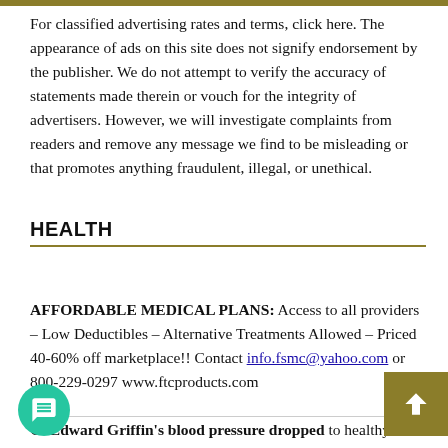For classified advertising rates and terms, click here. The appearance of ads on this site does not signify endorsement by the publisher. We do not attempt to verify the accuracy of statements made therein or vouch for the integrity of advertisers. However, we will investigate complaints from readers and remove any message we find to be misleading or that promotes anything fraudulent, illegal, or unethical.
HEALTH
AFFORDABLE MEDICAL PLANS: Access to all providers – Low Deductibles – Alternative Treatments Allowed – Priced 40-60% off marketplace!! Contact info.fsmc@yahoo.com or 800-229-0297 www.ftcproducts.com
G. Edward Griffin's blood pressure dropped to healthy